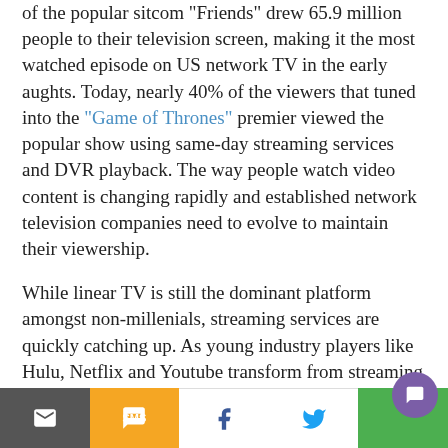of the popular sitcom "Friends" drew 65.9 million people to their television screen, making it the most watched episode on US network TV in the early aughts. Today, nearly 40% of the viewers that tuned into the "Game of Thrones" premier viewed the popular show using same-day streaming services and DVR playback. The way people watch video content is changing rapidly and established network television companies need to evolve to maintain their viewership.
While linear TV is still the dominant platform amongst non-millenials, streaming services are quickly catching up. As young industry players like Hulu, Netflix and Youtube transform from streaming services to content crea...